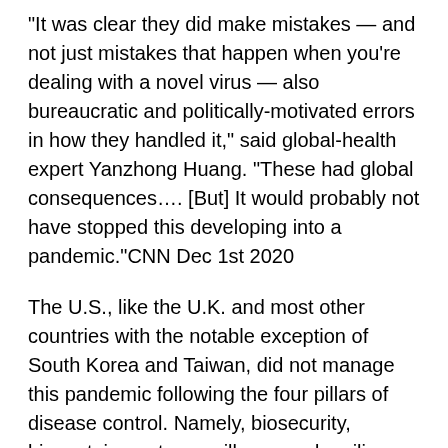“It was clear they did make mistakes — and not just mistakes that happen when you’re dealing with a novel virus — also bureaucratic and politically-motivated errors in how they handled it,” said global-health expert Yanzhong Huang. “These had global consequences…. [But] It would probably not have stopped this developing into a pandemic.”CNN Dec 1st 2020
The U.S., like the U.K. and most other countries with the notable exception of South Korea and Taiwan, did not manage this pandemic following the four pillars of disease control. Namely, biosecurity, biocontainment, surveillance and resilience (of exposed individuals who develop natural “herd” immunity). These four pillars must be applied concurrently. (See Sibley, D and